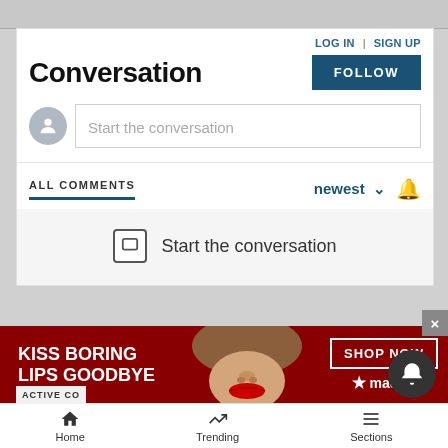Conversation
LOG IN | SIGN UP
FOLLOW
Start the conversation
ALL COMMENTS
newest
Start the conversation
ADVERTISEMENT
[Figure (photo): Macy's lipstick advertisement banner showing a woman's face with red lips, 'KISS BORING LIPS GOODBYE' text, SHOP NOW button and Macy's logo]
ACTIVE CO...
Home  Trending  Sections